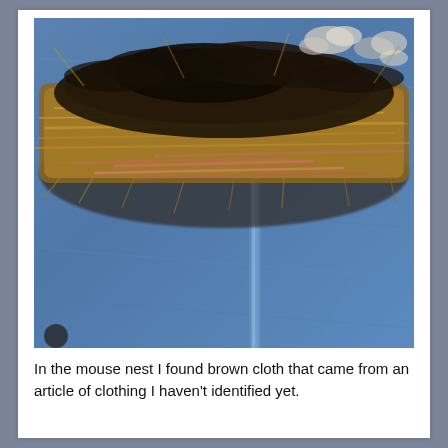[Figure (photo): Close-up photograph of a mouse nest made of tangled brown cloth fibers, dried grass, straw, and dark fluffy material, resting on top of blue denim jeans fabric with a visible seam running vertically.]
In the mouse nest I found brown cloth that came from an article of clothing I haven't identified yet.